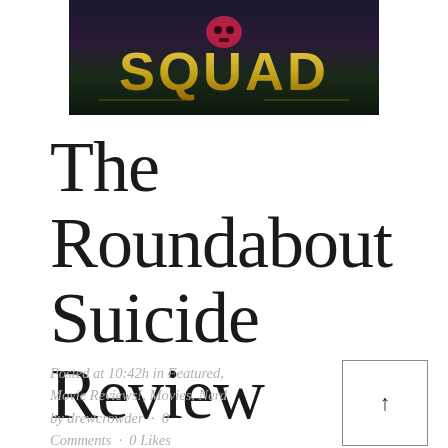[Figure (photo): Movie banner image showing 'SQUAD' text in golden stylized lettering on a dark background, partially cropped at top]
The Roundabout Suicide Review
Posted at 10:42h in Featured, Movie Reviews!, Movies, Nerd by drewcrowder · 0 Comments · 0 Likes